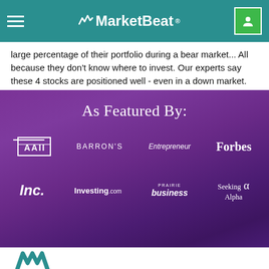MarketBeat
large percentage of their portfolio during a bear market... All because they don't know where to invest. Our experts say these 4 stocks are positioned well - even in a down market.
As Featured By:
[Figure (logo): Row of publication logos on purple background: AAII, BARRON'S, Entrepreneur, Forbes, Inc., Investing.com, Prairie Business, Seeking Alpha]